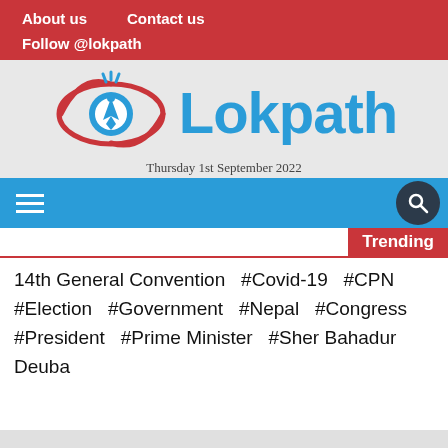About us   Contact us
Follow @lokpath
[Figure (logo): Lokpath news website logo: an eye icon with a pen nib inside, colored red and blue, with the word Lokpath in large blue text beside it.]
Thursday 1st September 2022
Trending
14th General Convention  #Covid-19  #CPN  #Election  #Government  #Nepal  #Congress  #President  #Prime Minister  #Sher Bahadur Deuba